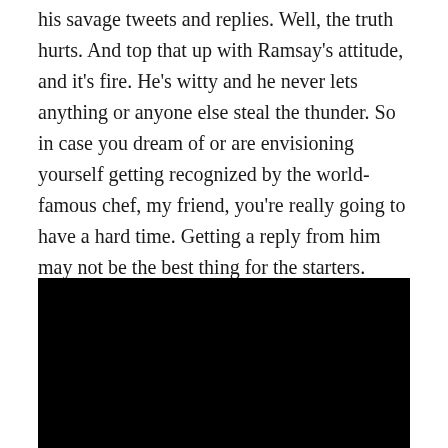his savage tweets and replies. Well, the truth hurts. And top that up with Ramsay's attitude, and it's fire. He's witty and he never lets anything or anyone else steal the thunder. So in case you dream of or are envisioning yourself getting recognized by the world-famous chef, my friend, you're really going to have a hard time. Getting a reply from him may not be the best thing for the starters.
[Figure (photo): A large black rectangle, likely a video or image placeholder/thumbnail with no visible content.]